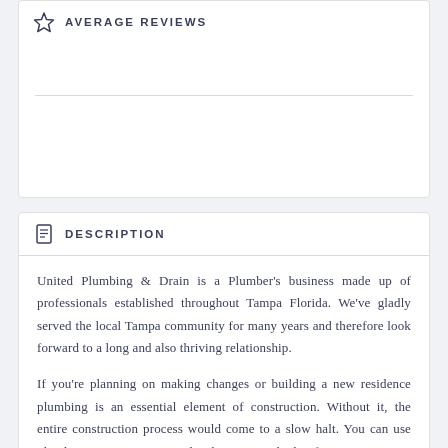AVERAGE REVIEWS
DESCRIPTION
United Plumbing & Drain is a Plumber's business made up of professionals established throughout Tampa Florida. We've gladly served the local Tampa community for many years and therefore look forward to a long and also thriving relationship.
If you're planning on making changes or building a new residence plumbing is an essential element of construction. Without it, the entire construction process would come to a slow halt. You can use plumbing to pump septic tanks, drainage, and other functions. So, you must be aware of what plumbers do to ensure that you don't spend your money hiring one for a job you don't need. Knowing the fundamentals of what a plumber is can help you decide whether you'll need one.